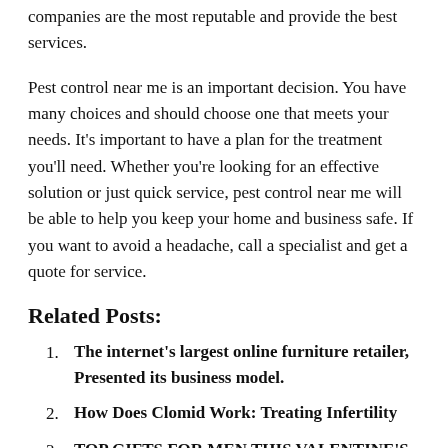companies are the most reputable and provide the best services.
Pest control near me is an important decision. You have many choices and should choose one that meets your needs. It’s important to have a plan for the treatment you’ll need. Whether you’re looking for an effective solution or just quick service, pest control near me will be able to help you keep your home and business safe. If you want to avoid a headache, call a specialist and get a quote for service.
Related Posts:
The internet’s largest online furniture retailer, Presented its business model.
How Does Clomid Work: Treating Infertility
TOP GIFTS FOR MEN THIS VALENTINE’S